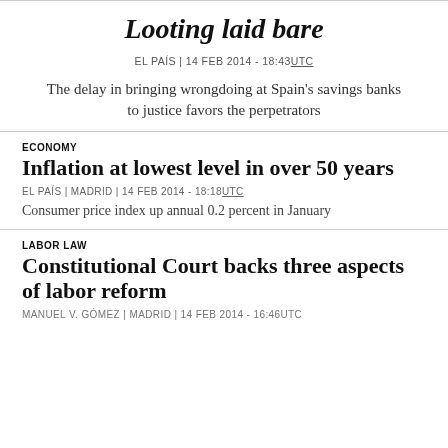Looting laid bare
EL PAÍS | 14 FEB 2014 - 18:43UTC
The delay in bringing wrongdoing at Spain's savings banks to justice favors the perpetrators
ECONOMY
Inflation at lowest level in over 50 years
EL PAÍS | Madrid | 14 FEB 2014 - 18:18UTC
Consumer price index up annual 0.2 percent in January
LABOR LAW
Constitutional Court backs three aspects of labor reform
MANUEL V. GÓMEZ | Madrid | 14 FEB 2014 - 16:46UTC